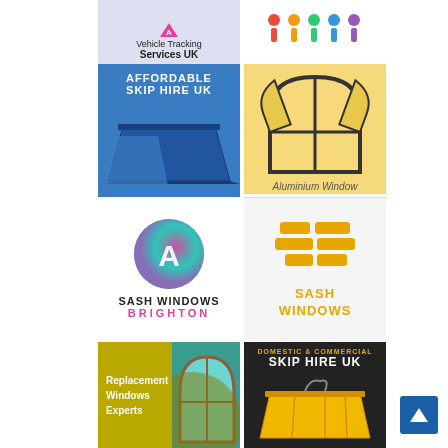[Figure (logo): Vehicle Tracking Services UK logo on light blue-grey background]
[Figure (logo): Colorful figures/people logo on white background]
[Figure (illustration): Affordable Skip Hire UK - blue skip containers with text overlay]
[Figure (illustration): Aluminium Window illustration on yellow background with window graphic]
[Figure (logo): Sash Windows Brighton logo with pink/teal circle A emblem]
[Figure (logo): Sash Windows logo with orange/gold grid emblem on light background]
[Figure (illustration): Replacement Windows Experts - olive/yellow background with window graphic]
[Figure (illustration): Domestic & Commercial Skip Hire UK - dark background with yellow skip]